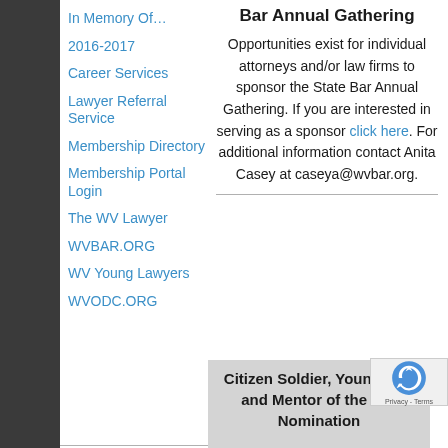Bar Annual Gathering
Opportunities exist for individual attorneys and/or law firms to sponsor the State Bar Annual Gathering. If you are interested in serving as a sponsor click here. For additional information contact Anita Casey at caseya@wvbar.org.
In Memory Of…
2016-2017
Career Services
Lawyer Referral Service
Membership Directory
Membership Portal Login
The WV Lawyer
WVBAR.ORG
WV Young Lawyers
WVODC.ORG
Citizen Soldier, Young Law and Mentor of the Yea Nomination